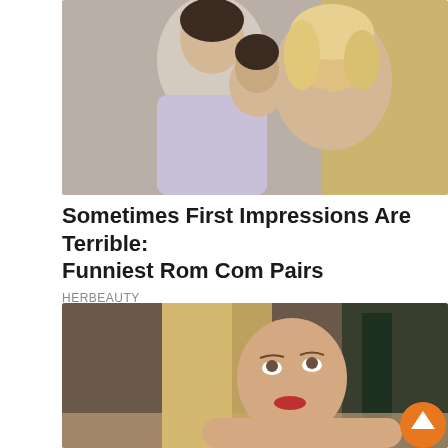[Figure (photo): A man and a woman in a romantic pose close to each other, man in a light purple shirt holding the woman's face, woman with curly blonde hair, yellow car visible in background]
Sometimes First Impressions Are Terrible: Funniest Rom Com Pairs
HERBEAUTY
[Figure (photo): A blonde woman with straight hair looking upward with an expressive face, seated, with a dark background showing cafe/coffee shop elements including a green pillar]